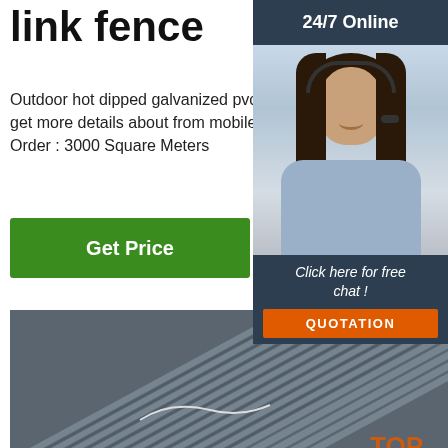link fence
Outdoor hot dipped galvanized pvc coated chain link fence, You can get more details about from mobile site on m.alibaba.com $1.00 - $2... Order : 3000 Square Meters
Get Price
[Figure (photo): Bundle of steel rebar/rods stacked diagonally, dark grey metallic finish]
[Figure (photo): 24/7 Online chat widget with female customer service agent wearing headset, with Click here for free chat! and QUOTATION button]